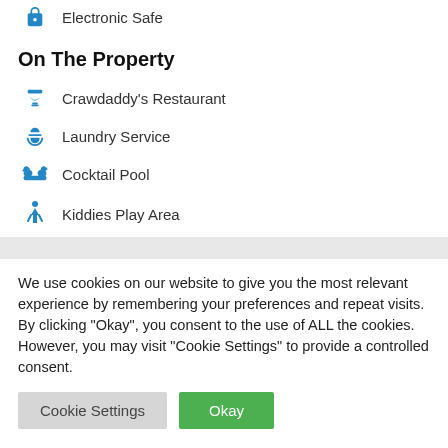Electronic Safe
On The Property
Crawdaddy's Restaurant
Laundry Service
Cocktail Pool
Kiddies Play Area
We use cookies on our website to give you the most relevant experience by remembering your preferences and repeat visits. By clicking “Okay”, you consent to the use of ALL the cookies. However, you may visit "Cookie Settings" to provide a controlled consent.
Cookie Settings | Okay